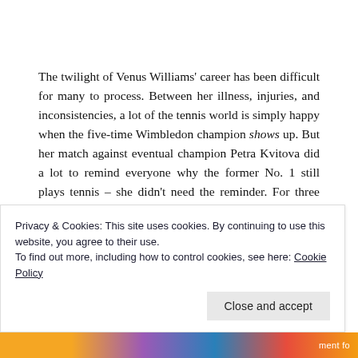The twilight of Venus Williams' career has been difficult for many to process. Between her illness, injuries, and inconsistencies, a lot of the tennis world is simply happy when the five-time Wimbledon champion shows up. But her match against eventual champion Petra Kvitova did a lot to remind everyone why the former No. 1 still plays tennis – she didn't need the reminder. For three grueling sets, the American went toe-to-toe with the best grass court player of the next generation, getting within a heartbeat of the upset. For her part,
Privacy & Cookies: This site uses cookies. By continuing to use this website, you agree to their use.
To find out more, including how to control cookies, see here: Cookie Policy